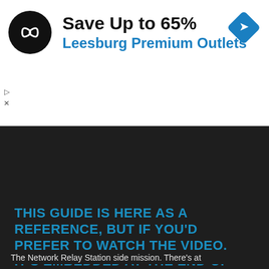[Figure (infographic): Advertisement banner for Leesburg Premium Outlets showing logo, 'Save Up to 65%' headline, blue subtitle, and navigation/map icon]
Apr, 2017 | Games | 0 comments
THIS GUIDE IS HERE AS A REFERENCE, BUT IF YOU'D PREFER TO WATCH THE VIDEO, IT'S EMBEDDED AT THE END OF THIS POST…
The Network Relay Station side mission. There's at